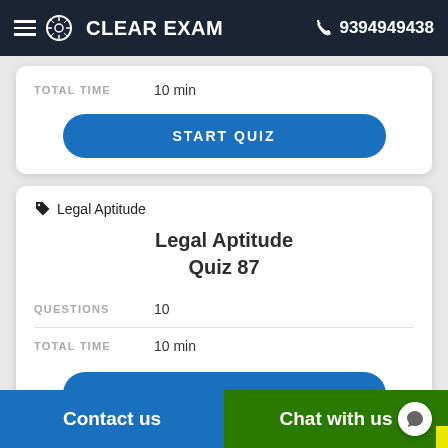CLEAR EXAM  9394949438
TOTAL TIME  10 min
START QUIZ
Legal Aptitude
Legal Aptitude Quiz 87
QUESTIONS  10
TOTAL TIME  10 min
Contact us  Chat with us